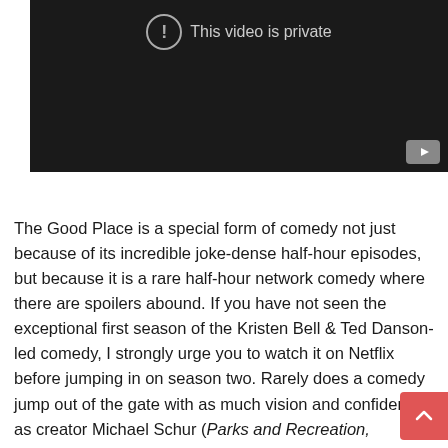[Figure (screenshot): An embedded video player showing a private video message. Dark background with a circle exclamation icon and text 'This video is private'. YouTube play button icon in bottom right corner.]
The Good Place is a special form of comedy not just because of its incredible joke-dense half-hour episodes, but because it is a rare half-hour network comedy where there are spoilers abound. If you have not seen the exceptional first season of the Kristen Bell & Ted Danson-led comedy, I strongly urge you to watch it on Netflix before jumping in on season two. Rarely does a comedy jump out of the gate with as much vision and confidence as creator Michael Schur (Parks and Recreation,